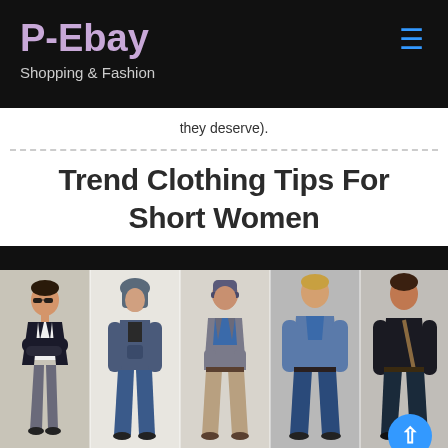P-Ebay
Shopping & Fashion
they deserve).
Trend Clothing Tips For Short Women
[Figure (photo): Photo collage of five young men in casual/trendy clothing including jackets, hoodies, and jeans]